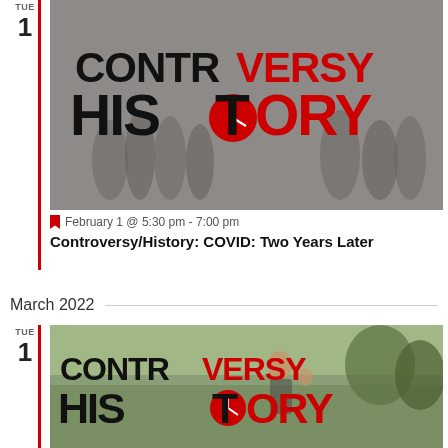TUE
1
[Figure (photo): Controversy/History logo overlaid on a black and white historical photo showing a crowd of people]
February 1 @ 5:30 pm - 7:00 pm
Controversy/History: COVID: Two Years Later
March 2022
TUE
1
[Figure (photo): Controversy/History logo overlaid on a color photo showing a woman and child outdoors in a field with trees in the background]